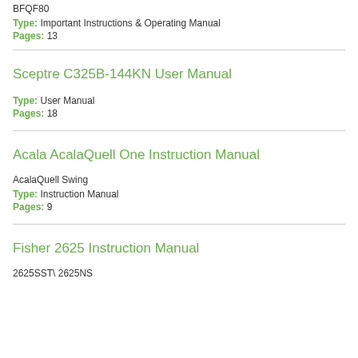BFQF80
Type: Important Instructions & Operating Manual
Pages: 13
Sceptre C325B-144KN User Manual
Type: User Manual
Pages: 18
Acala AcalaQuell One Instruction Manual
AcalaQuell Swing
Type: Instruction Manual
Pages: 9
Fisher 2625 Instruction Manual
2625SST\ 2625NS